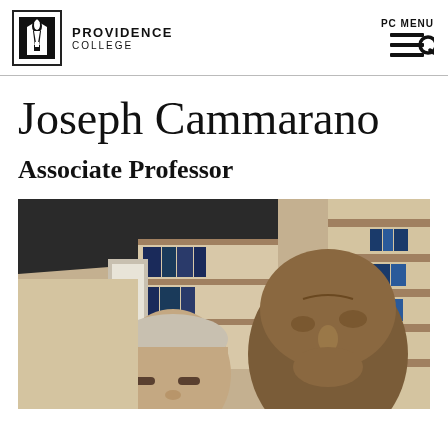Providence College | PC MENU
Joseph Cammarano
Associate Professor
[Figure (photo): Photo of a person next to a bronze bust sculpture, with bookshelves in the background]